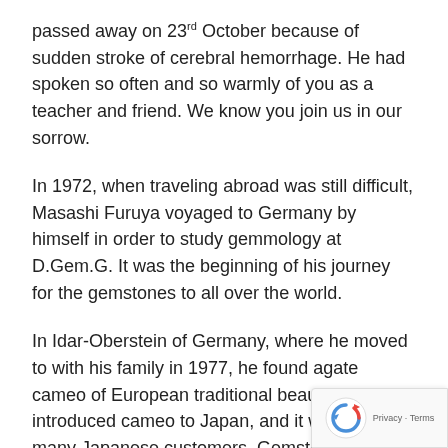passed away on 23rd October because of sudden stroke of cerebral hemorrhage. He had spoken so often and so warmly of you as a teacher and friend. We know you join us in our sorrow.
In 1972, when traveling abroad was still difficult, Masashi Furuya voyaged to Germany by himself in order to study gemmology at D.Gem.G. It was the beginning of his journey for the gemstones to all over the world.
In Idar-Oberstein of Germany, where he moved to with his family in 1977, he found agate cameo of European traditional beauty. He introduced cameo to Japan, and it was loved by many Japanese customers. Gemstones which he found in Idar-Oberstein, a Mecca of gemstone cutting, fascinated and encouraged him to fly to many gemstone origins. Every time he found new gemstones he was delighted to introduce them to Japanese market. In 1998 when the new sapphire mine was discovered in